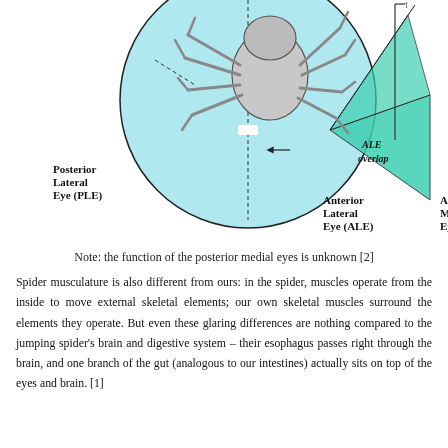[Figure (illustration): Diagram of a jumping spider showing fields of view for different eyes: Posterior Lateral Eye (PLE) labeled on left, Anterior Lateral Eye (ALE) and Anterior Medial Eye (AME) labeled at bottom. Green triangular regions show ALE field of view and ALE overlap region. The spider is shown from above within a circular light-blue background.]
Note: the function of the posterior medial eyes is unknown [2]
Spider musculature is also different from ours: in the spider, muscles operate from the inside to move external skeletal elements; our own skeletal muscles surround the elements they operate. But even these glaring differences are nothing compared to the jumping spider's brain and digestive system – their esophagus passes right through the brain, and one branch of the gut (analogous to our intestines) actually sits on top of the eyes and brain. [1]